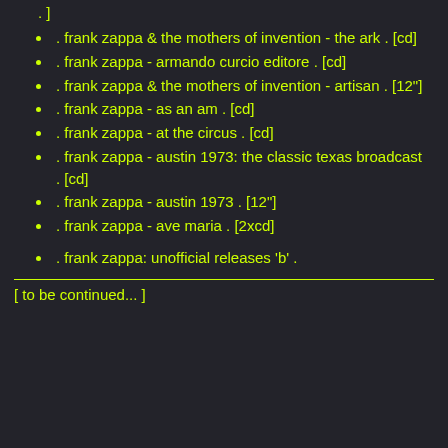. frank zappa & the mothers of invention - the ark . [cd]
. frank zappa - armando curcio editore . [cd]
. frank zappa & the mothers of invention - artisan . [12"]
. frank zappa - as an am . [cd]
. frank zappa - at the circus . [cd]
. frank zappa - austin 1973: the classic texas broadcast . [cd]
. frank zappa - austin 1973 . [12"]
. frank zappa - ave maria . [2xcd]
. frank zappa: unofficial releases 'b' .
[to be continued...]